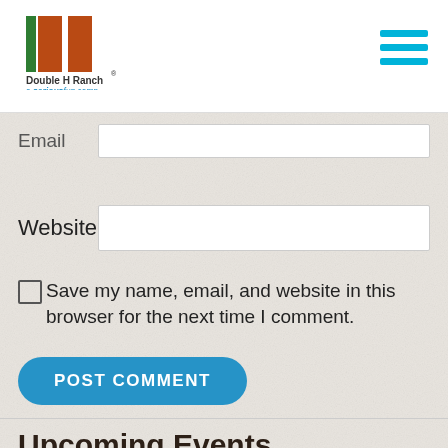[Figure (logo): Double H Ranch - a seriousfun camp logo with two H letters in brown/orange and green vertical bar]
Email
Website
Save my name, email, and website in this browser for the next time I comment.
POST COMMENT
Upcoming Events
Annual Gala
September 17